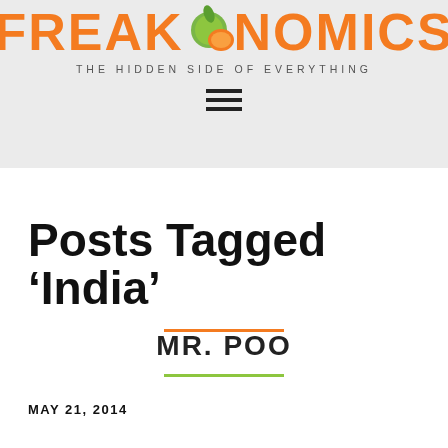FREAKONOMICS THE HIDDEN SIDE OF EVERYTHING
Posts Tagged ‘India’
MR. POO
MAY 21, 2014